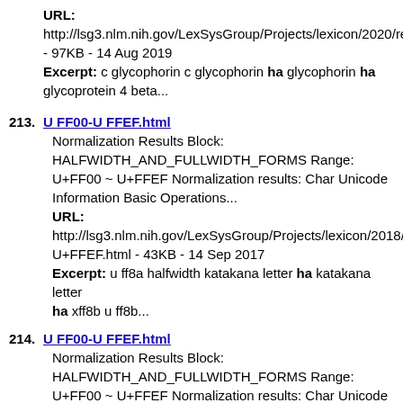URL: http://lsg3.nlm.nih.gov/LexSysGroup/Projects/lexicon/2020/re - 97KB - 14 Aug 2019 Excerpt: c glycophorin c glycophorin ha glycophorin ha glycoprotein 4 beta...
213. U FF00-U FFEF.html
Normalization Results Block: HALFWIDTH_AND_FULLWIDTH_FORMS Range: U+FF00 ~ U+FFEF Normalization results: Char Unicode Information Basic Operations...
URL: http://lsg3.nlm.nih.gov/LexSysGroup/Projects/lexicon/2018/re U+FFEF.html - 43KB - 14 Sep 2017
Excerpt: u ff8a halfwidth katakana letter ha katakana letter ha xff8b u ff8b...
214. U FF00-U FFEF.html
Normalization Results Block: HALFWIDTH_AND_FULLWIDTH_FORMS Range: U+FF00 ~ U+FFEF Normalization results: Char Unicode Information Basic Operations...
URL: http://lsg3.nlm.nih.gov/LexSysGroup/Projects/lvg/2018/docs/d U+FFEF.html - 43KB - 14 Sep 2017